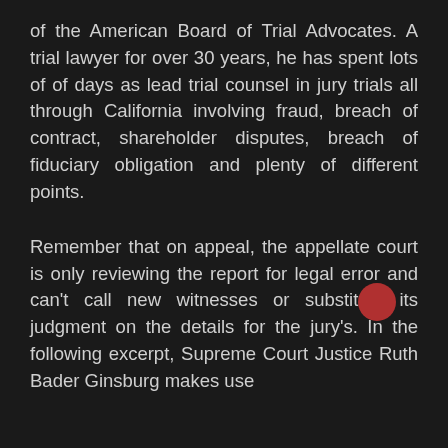of the American Board of Trial Advocates. A trial lawyer for over 30 years, he has spent lots of of days as lead trial counsel in jury trials all through California involving fraud, breach of contract, shareholder disputes, breach of fiduciary obligation and plenty of different points.
Remember that on appeal, the appellate court is only reviewing the report for legal error and can't call new witnesses or substitute its judgment on the details for the jury's. In the following excerpt, Supreme Court Justice Ruth Bader Ginsburg makes use